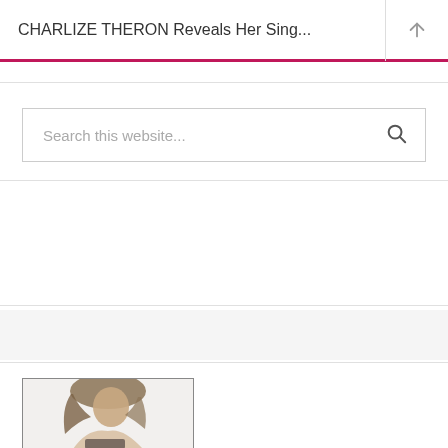CHARLIZE THERON Reveals Her Sing...
Search this website...
[Figure (photo): Partial photo of a woman with curly hair, appears to be a celebrity or model photo shoot image]